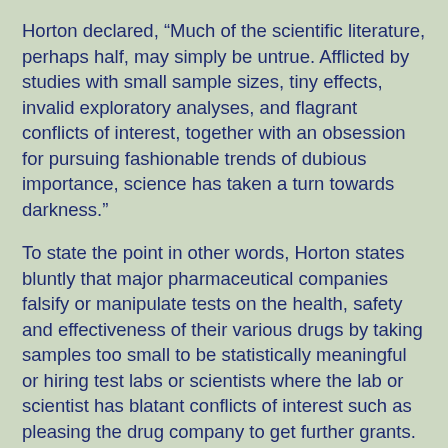Horton declared, “Much of the scientific literature, perhaps half, may simply be untrue. Afflicted by studies with small sample sizes, tiny effects, invalid exploratory analyses, and flagrant conflicts of interest, together with an obsession for pursuing fashionable trends of dubious importance, science has taken a turn towards darkness.”
To state the point in other words, Horton states bluntly that major pharmaceutical companies falsify or manipulate tests on the health, safety and effectiveness of their various drugs by taking samples too small to be statistically meaningful or hiring test labs or scientists where the lab or scientist has blatant conflicts of interest such as pleasing the drug company to get further grants. At least half of all such tests are worthless or worse he claims. As the drugs have a major effect on the health of millions of consumers, the manipulation amounts to criminal dereliction and malfeasance.
The drug industry-sponsored studies Horton refers to develop commercial drugs or vaccines to supposedly help...